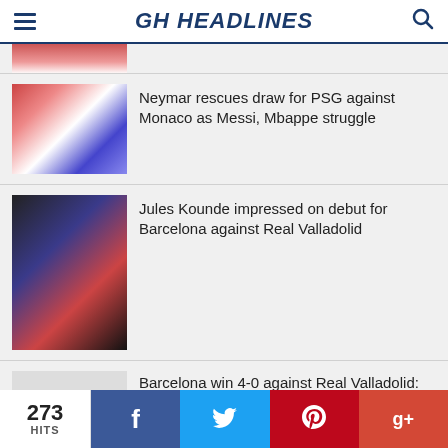GH HEADLINES
[Figure (photo): Partial top sports image cropped at top]
Neymar rescues draw for PSG against Monaco as Messi, Mbappe struggle
Jules Kounde impressed on debut for Barcelona against Real Valladolid
Barcelona win 4-0 against Real Valladolid: Full time reactions
Paul Pogba blackmail: Police open investigation amid Matthias Pogba claims
273 HITS